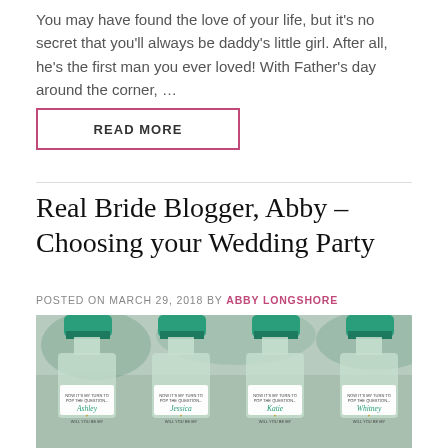You may have found the love of your life, but it's no secret that you'll always be daddy's little girl. After all, he's the first man you ever loved! With Father's day around the corner, …
READ MORE
Real Bride Blogger, Abby – Choosing your Wedding Party
POSTED ON MARCH 29, 2018 BY ABBY LONGSHORE
[Figure (photo): Four mini liquor bottles with teal/green caps and custom bridesmaid proposal labels reading 'Now it's my turn to pop the question...' with names Ashley, Jessica, Katie, Whitney and 'Will you be my...' text]